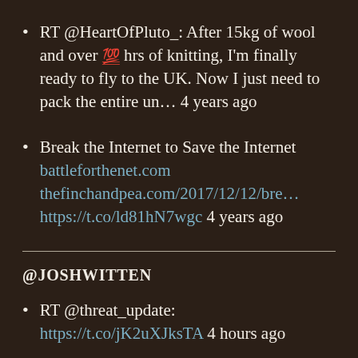RT @HeartOfPluto_: After 15kg of wool and over 💯 hrs of knitting, I'm finally ready to fly to the UK. Now I just need to pack the entire un… 4 years ago
Break the Internet to Save the Internet battleforthenet.com thefinchandpea.com/2017/12/12/bre… https://t.co/ld81hN7wgc 4 years ago
@JOSHWITTEN
RT @threat_update: https://t.co/jK2uXJksTA 4 hours ago